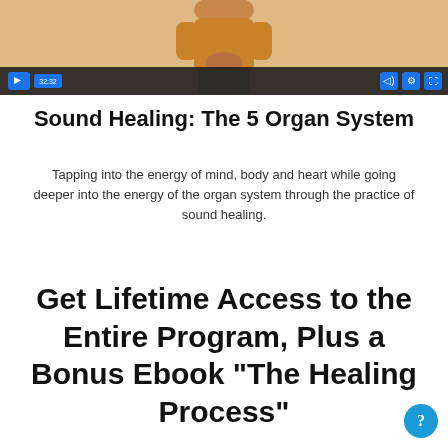[Figure (screenshot): Video player thumbnail showing a person in a yellow/orange jacket with peach background, with video controls bar at bottom showing play button, time stamp 32:32, and control icons]
Sound Healing: The 5 Organ System
Tapping into the energy of mind, body and heart while going deeper into the energy of the organ system through the practice of sound healing.
Get Lifetime Access to the Entire Program, Plus a Bonus Ebook "The Healing Process"